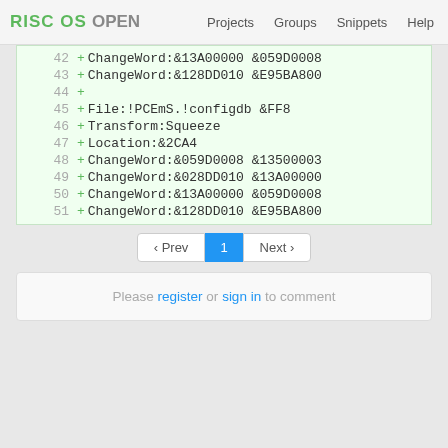RISC OS OPEN | Projects | Groups | Snippets | Help
42  + ChangeWord:&13A00000 &059D0008
43  + ChangeWord:&128DD010 &E95BA800
44  +
45  + File:!PCEmS.!configdb &FF8
46  + Transform:Squeeze
47  + Location:&2CA4
48  + ChangeWord:&059D0008 &13500003
49  + ChangeWord:&028DD010 &13A00000
50  + ChangeWord:&13A00000 &059D0008
51  + ChangeWord:&128DD010 &E95BA800
‹ Prev  1  Next ›
Please register or sign in to comment